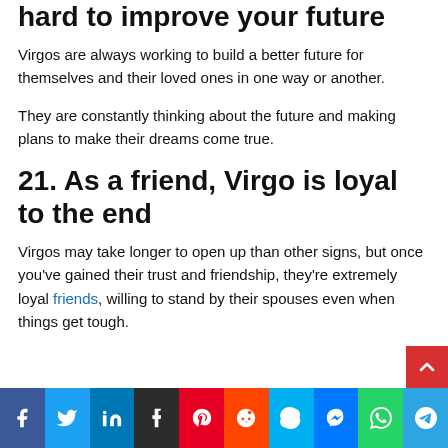hard to improve your future
Virgos are always working to build a better future for themselves and their loved ones in one way or another.
They are constantly thinking about the future and making plans to make their dreams come true.
21. As a friend, Virgo is loyal to the end
Virgos may take longer to open up than other signs, but once you've gained their trust and friendship, they're extremely loyal friends, willing to stand by their spouses even when things get tough.
Social share bar: Facebook, Twitter, LinkedIn, Tumblr, Pinterest, Reddit, Skype, Messenger, WhatsApp, Telegram